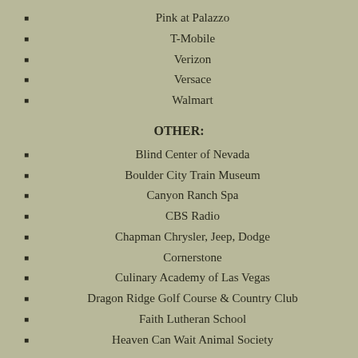Pink at Palazzo
T-Mobile
Verizon
Versace
Walmart
OTHER:
Blind Center of Nevada
Boulder City Train Museum
Canyon Ranch Spa
CBS Radio
Chapman Chrysler, Jeep, Dodge
Cornerstone
Culinary Academy of Las Vegas
Dragon Ridge Golf Course & Country Club
Faith Lutheran School
Heaven Can Wait Animal Society